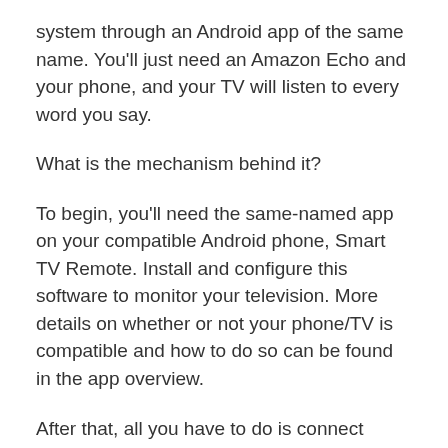system through an Android app of the same name. You'll just need an Amazon Echo and your phone, and your TV will listen to every word you say.
What is the mechanism behind it?
To begin, you'll need the same-named app on your compatible Android phone, Smart TV Remote. Install and configure this software to monitor your television. More details on whether or not your phone/TV is compatible and how to do so can be found in the app overview.
After that, all you have to do is connect Amazon Echo and the app. As a result, you must:
Go to Amazon Echo's app settings and select register.